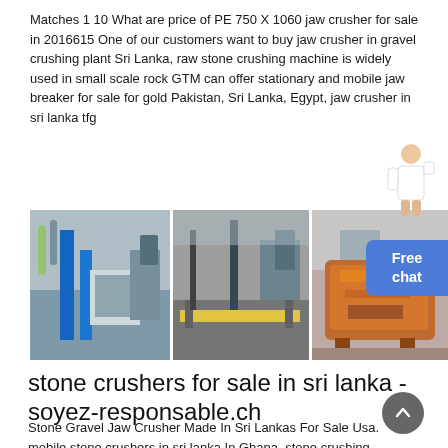Matches 1 10 What are price of PE 750 X 1060 jaw crusher for sale in 2016615 One of our customers want to buy jaw crusher in gravel crushing plant Sri Lanka, raw stone crushing machine is widely used in small scale rock GTM can offer stationary and mobile jaw breaker for sale for gold Pakistan, Sri Lanka, Egypt, jaw crusher in sri lanka tfg
[Figure (photo): Three industrial stone crusher and mining equipment images side by side: left shows an indoor industrial plant with blue machinery, middle shows conveyor systems and industrial equipment, right shows an orange rusty jaw crusher outdoors.]
stone crushers for sale in sri lanka - soyez-responsable.ch
Stone Gravel Jaw Crusher Made In Sri Lankas For Sale Usa. mobile stone crushers in sri lanka In Ghana, stone crushing machine is widely used in small scale rockGTM can offer stationary and mobile jaw breaker for sale for goldPakistan, Sri Lanka, Egypt, Saudi Arabia, Ghana, South